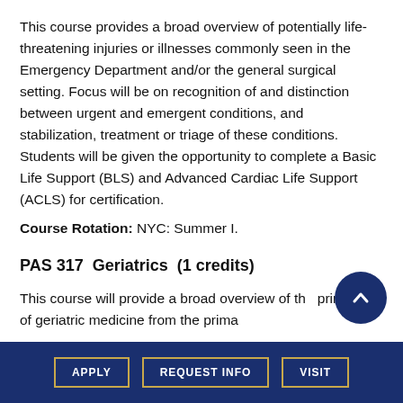This course provides a broad overview of potentially life-threatening injuries or illnesses commonly seen in the Emergency Department and/or the general surgical setting. Focus will be on recognition of and distinction between urgent and emergent conditions, and stabilization, treatment or triage of these conditions. Students will be given the opportunity to complete a Basic Life Support (BLS) and Advanced Cardiac Life Support (ACLS) for certification.
Course Rotation: NYC: Summer I.
PAS 317  Geriatrics  (1 credits)
This course will provide a broad overview of the principles of geriatric medicine from the primary
APPLY   REQUEST INFO   VISIT